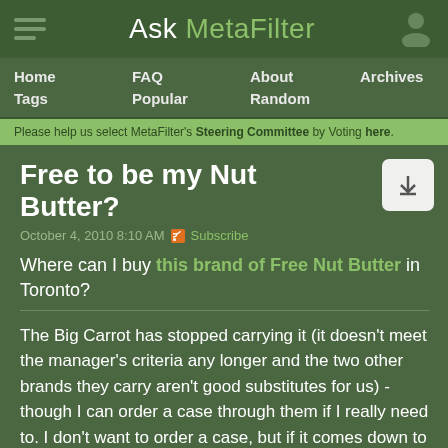Ask MetaFilter
Home  FAQ  About  Archives  Tags  Popular  Random
Please help us select MetaFilter's Steering Committee by Voting here.
Free to be my Nut Butter?
October 4, 2010 8:10 AM  Subscribe
Where can I buy this brand of Free Nut Butter in Toronto?
The Big Carrot has stopped carrying it (it doesn't meet the manager's criteria any longer and the two other brands they carry aren't good substitutes for us) - though I can order a case through them if I really need to. I don't want to order a case, but if it comes down to it, I guess I'll have to.